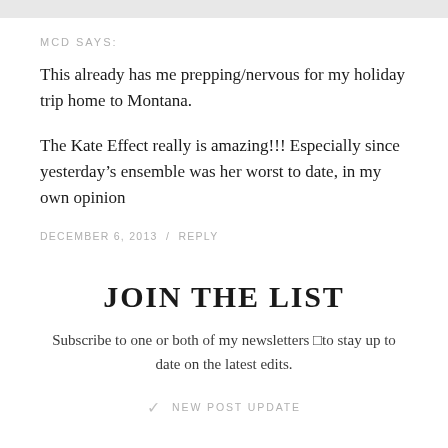MCD SAYS:
This already has me prepping/nervous for my holiday trip home to Montana.
The Kate Effect really is amazing!!! Especially since yesterday’s ensemble was her worst to date, in my own opinion
DECEMBER 6, 2013 / REPLY
JOIN THE LIST
Subscribe to one or both of my newsletters □to stay up to date on the latest edits.
✓ NEW POST UPDATE